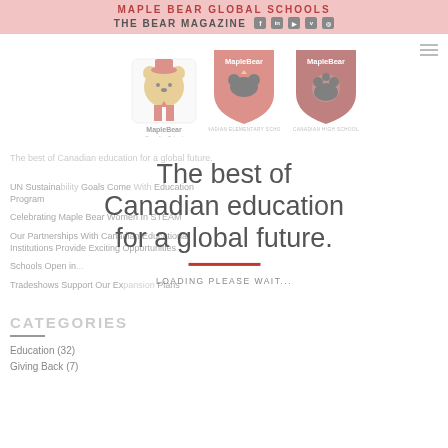MAPLE BEAR GLOBAL SCHOOLS
THE BEAR MAGAZINE
[Figure (logo): Three MapleBear school logos: Canadian School (teddy bear with maple leaf), Canadian Elementary School (bear shield), Canadian High School (bear crest shield)]
The best of Canadian education for a global future.
UN Sustainability Goals Come With Education Program
Celebrating Maple Bear Women In STEAM
Our Partnerships With Canadian Educational Institutions Provide Exciting Opportunities
Schools Open in...
Tradeshows Support Our Expansion Plans
LOADING PLEASE WAIT...
CATEGORIES
Education (32)
Giving Back (7)